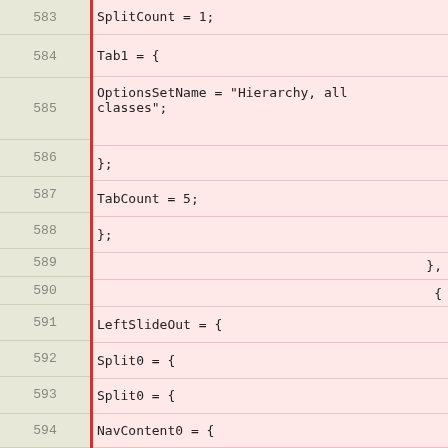Code listing lines 583-594 showing configuration object with SplitCount, Tab1, OptionsSetName, TabCount, LeftSlideOut, Split0, and NavContent0 fields